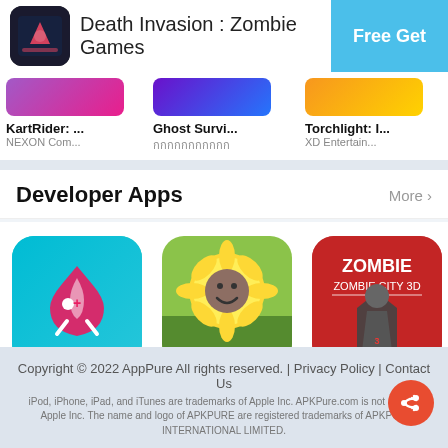[Figure (screenshot): App store page for Death Invasion: Zombie Games with Free Get button]
KartRider: ... | NEXON Com...
Ghost Survi... | (non-latin characters)
Torchlight: I... | XD Entertain...
The Chase:... | Mad Hook
Real... | Hamz...
Developer Apps
Sim Hospit... | Simulation
Idle Plants -... | Adventure
Zombie City... | Entertainment
(non-latin) | Adventure
Talkin... | Arcad...
Copyright © 2022 AppPure All rights reserved. | Privacy Policy | Contact Us
iPod, iPhone, iPad, and iTunes are trademarks of Apple Inc. APKPure.com is not affiliated with Apple Inc. The name and logo of APKPURE are registered trademarks of APKPURE INTERNATIONAL LIMITED.